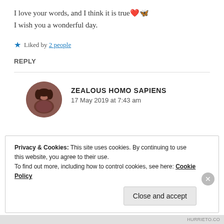I love your words, and I think it is true❤️🦋
I wish you a wonderful day.
★ Liked by 2 people
REPLY
ZEALOUS HOMO SAPIENS
17 May 2019 at 7:43 am
Privacy & Cookies: This site uses cookies. By continuing to use this website, you agree to their use.
To find out more, including how to control cookies, see here: Cookie Policy
Close and accept